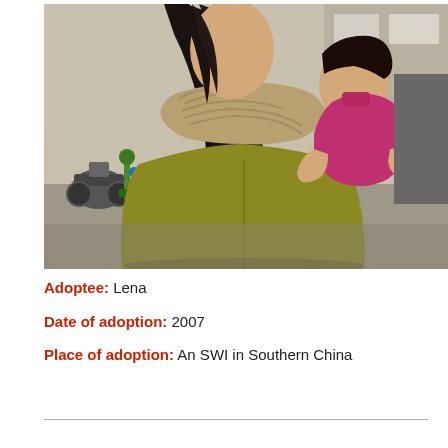[Figure (photo): A woman with long dark hair wearing a yellow-green winter jacket with fur-trimmed hood carries a small child dressed in a magenta/pink top. The photo is taken outdoors in what appears to be a Chinese street setting.]
Adoptee: Lena
Date of adoption: 2007
Place of adoption: An SWI in Southern China